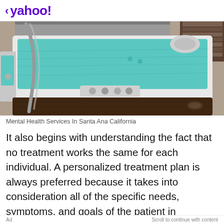< yahoo!
[Figure (photo): Close-up photo of a hot tub or swim spa with turquoise-colored water, white acrylic shell, dark brown wood cabinet exterior, and a metal handrail visible on the left side. The tub is open with its cover partially pulled back.]
Mental Health Services In Santa Ana California
It also begins with understanding the fact that no treatment works the same for each individual. A personalized treatment plan is always preferred because it takes into consideration all of the specific needs, symptoms, and goals of the patient in recovery.
Ad    Scroll to continue with content